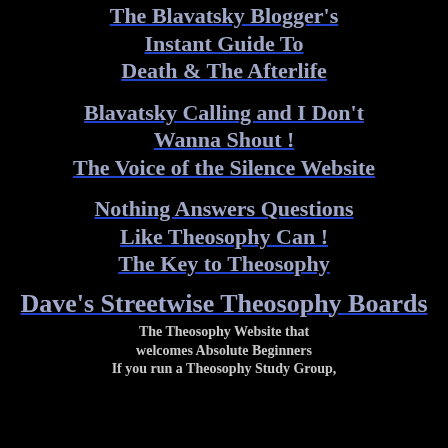The Blavatsky Blogger's Instant Guide To Death & The Afterlife
Blavatsky Calling and I Don't Wanna Shout ! The Voice of the Silence Website
Nothing Answers Questions Like Theosophy Can ! The Key to Theosophy
Dave's Streetwise Theosophy Boards
The Theosophy Website that welcomes Absolute Beginners If you run a Theosophy Study Group,